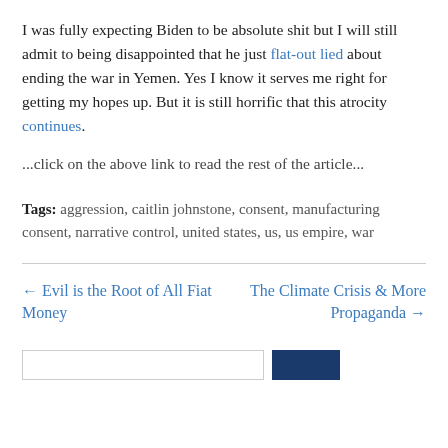I was fully expecting Biden to be absolute shit but I will still admit to being disappointed that he just flat-out lied about ending the war in Yemen. Yes I know it serves me right for getting my hopes up. But it is still horrific that this atrocity continues.
...click on the above link to read the rest of the article...
Tags: aggression, caitlin johnstone, consent, manufacturing consent, narrative control, united states, us, us empire, war
← Evil is the Root of All Fiat Money
The Climate Crisis & More Propaganda →